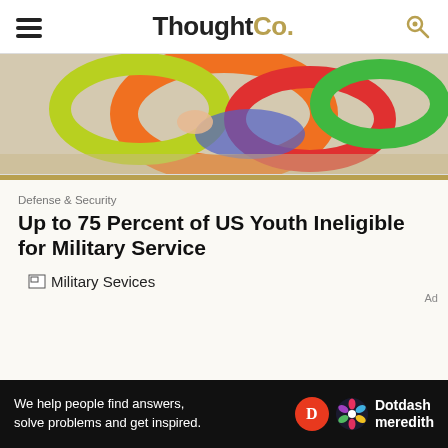ThoughtCo.
[Figure (photo): Colorful hula hoops and a child's hand — advertisement image]
Defense & Security
Up to 75 Percent of US Youth Ineligible for Military Service
[Figure (photo): Broken image placeholder labeled 'Military Sevices']
Ad
We help people find answers, solve problems and get inspired. Dotdash meredith